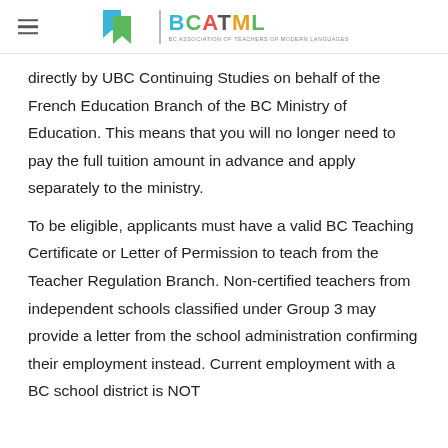BCATML — BC Association of Teachers of Modern Languages
directly by UBC Continuing Studies on behalf of the French Education Branch of the BC Ministry of Education. This means that you will no longer need to pay the full tuition amount in advance and apply separately to the ministry.
To be eligible, applicants must have a valid BC Teaching Certificate or Letter of Permission to teach from the Teacher Regulation Branch. Non-certified teachers from independent schools classified under Group 3 may provide a letter from the school administration confirming their employment instead. Current employment with a BC school district is NOT